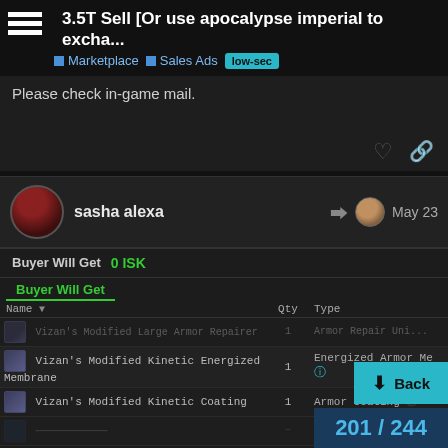3.5T Sell [Or use apocalypse imperial to excha...
Marketplace > Sales Ads > low-sec
Please check in-game mail.
sasha alexa   May 23
| Name | Qty | Type |
| --- | --- | --- |
| Vizan's Modified Large Armor Repairer | 1 | Armor Repair Unit |
| Vizan's Modified Kinetic Energized Membrane | 1 | Energized Armor Me... |
| Vizan's Modified Kinetic Coating | 1 | Armor Coating |
| Name | Qty | Type |
| --- | --- | --- |
| Apocalypse Imperial Issue | 1 | Battleship |
201 / 244